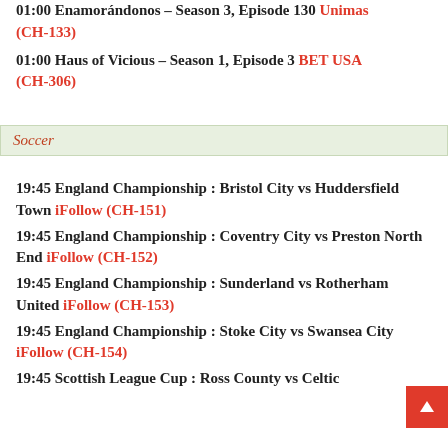01:00 Enamorándonos – Season 3, Episode 130 Unimas (CH-133)
01:00 Haus of Vicious – Season 1, Episode 3 BET USA (CH-306)
Soccer
19:45 England Championship : Bristol City vs Huddersfield Town iFollow (CH-151)
19:45 England Championship : Coventry City vs Preston North End iFollow (CH-152)
19:45 England Championship : Sunderland vs Rotherham United iFollow (CH-153)
19:45 England Championship : Stoke City vs Swansea City iFollow (CH-154)
19:45 Scottish League Cup : Ross County vs Celtic